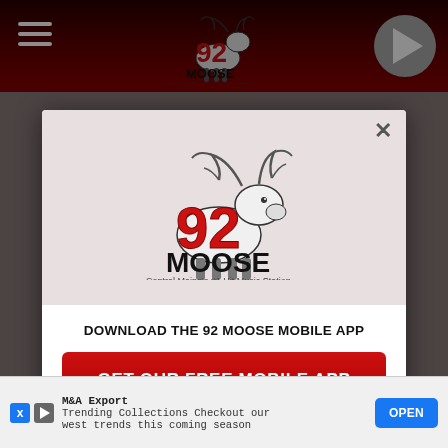[Figure (screenshot): 92 Moose radio station website screenshot with dark red navigation bar, hamburger menu icon, play button, and 92 Moose logo. A modal popup overlay shows the 92 Moose logo, a call to download the mobile app, a red GET OUR FREE MOBILE APP button, and an Amazon Alexa listen option. Bottom shows an advertisement bar for M&A Export.]
DOWNLOAD THE 92 MOOSE MOBILE APP
GET OUR FREE MOBILE APP
Also listen on:  amazon alexa
M&A Export
Trending Collections Checkout our west trends this coming season
OPEN